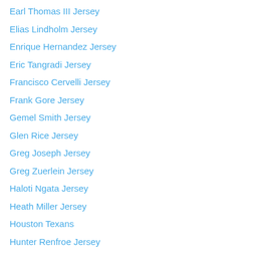Earl Thomas III Jersey
Elias Lindholm Jersey
Enrique Hernandez Jersey
Eric Tangradi Jersey
Francisco Cervelli Jersey
Frank Gore Jersey
Gemel Smith Jersey
Glen Rice Jersey
Greg Joseph Jersey
Greg Zuerlein Jersey
Haloti Ngata Jersey
Heath Miller Jersey
Houston Texans
Hunter Renfroe Jersey